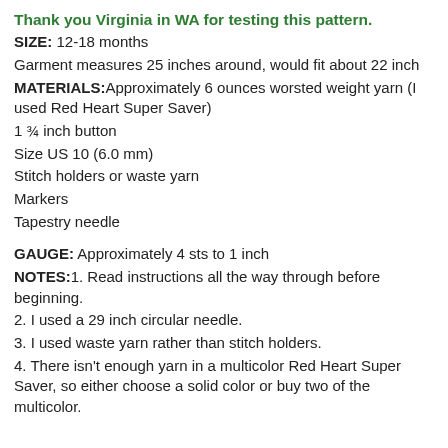Thank you Virginia in WA for testing this pattern.
SIZE: 12-18 months
Garment measures 25 inches around, would fit about 22 inch
MATERIALS: Approximately 6 ounces worsted weight yarn (I used Red Heart Super Saver)
1 ¾ inch button
Size US 10 (6.0 mm)
Stitch holders or waste yarn
Markers
Tapestry needle
GAUGE: Approximately 4 sts to 1 inch
NOTES: 1. Read instructions all the way through before beginning.
2. I used a 29 inch circular needle.
3. I used waste yarn rather than stitch holders.
4. There isn't enough yarn in a multicolor Red Heart Super Saver, so either choose a solid color or buy two of the multicolor.